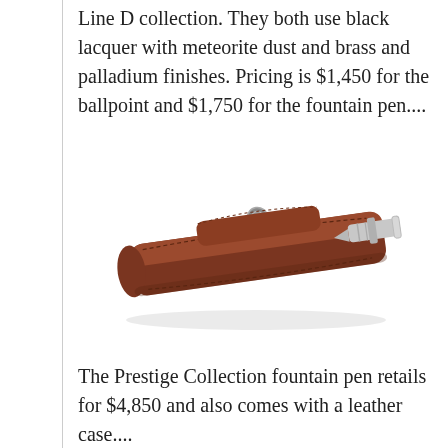Line D collection. They both use black lacquer with meteorite dust and brass and palladium finishes. Pricing is $1,450 for the ballpoint and $1,750 for the fountain pen....
[Figure (photo): A brown leather pen case with a snap button closure, containing a silver/metallic fountain pen partially visible at one end.]
The Prestige Collection fountain pen retails for $4,850 and also comes with a leather case....